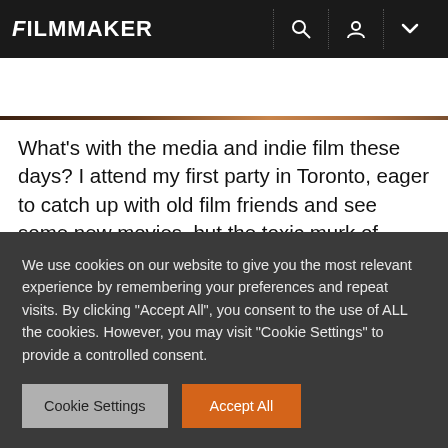FILMMAKER
[Figure (photo): Close-up photo strip of a person, warm tones, partially visible]
What’s with the media and indie film these days? I attend my first party in Toronto, eager to catch up with old film friends and see some new movies, but the toxic murk of today’s business environment keeps seeping in. I got a ride in from the airport with a sales agent friend who, while bemoaning the difficult market for auteur films worldwide, said to me, “You have it worse in America. It’s
We use cookies on our website to give you the most relevant experience by remembering your preferences and repeat visits. By clicking “Accept All”, you consent to the use of ALL the cookies. However, you may visit "Cookie Settings" to provide a controlled consent.